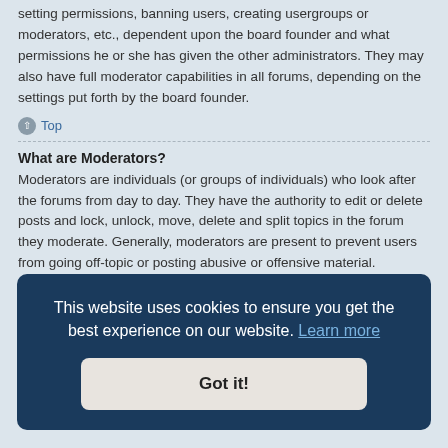setting permissions, banning users, creating usergroups or moderators, etc., dependent upon the board founder and what permissions he or she has given the other administrators. They may also have full moderator capabilities in all forums, depending on the settings put forth by the board founder.
Top
What are Moderators?
Moderators are individuals (or groups of individuals) who look after the forums from day to day. They have the authority to edit or delete posts and lock, unlock, move, delete and split topics in the forum they moderate. Generally, moderators are present to prevent users from going off-topic or posting abusive or offensive material.
Top
This website uses cookies to ensure you get the best experience on our website. Learn more
Got it!